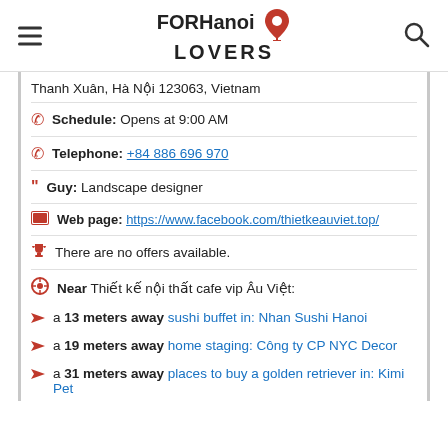FOR Hanoi LOVERS
Thanh Xuân, Hà Nội 123063, Vietnam
Schedule: Opens at 9:00 AM
Telephone: +84 886 696 970
Guy: Landscape designer
Web page: https://www.facebook.com/thietkeauviet.top/
There are no offers available.
Near Thiết kế nội thất cafe vip Âu Việt:
a 13 meters away sushi buffet in: Nhan Sushi Hanoi
a 19 meters away home staging: Công ty CP NYC Decor
a 31 meters away places to buy a golden retriever in: Kimi Pet